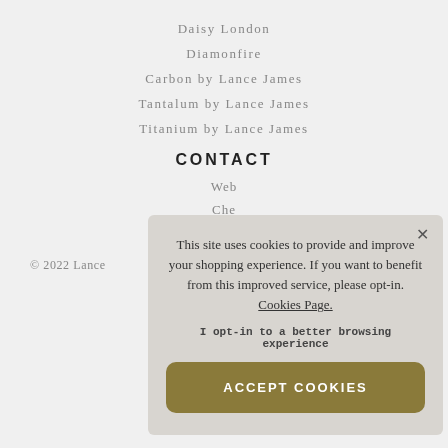Daisy London
Diamonfire
Carbon by Lance James
Tantalum by Lance James
Titanium by Lance James
CONTACT
Web
Che
© 2022 Lance
This site uses cookies to provide and improve your shopping experience. If you want to benefit from this improved service, please opt-in. Cookies Page. I opt-in to a better browsing experience ACCEPT COOKIES